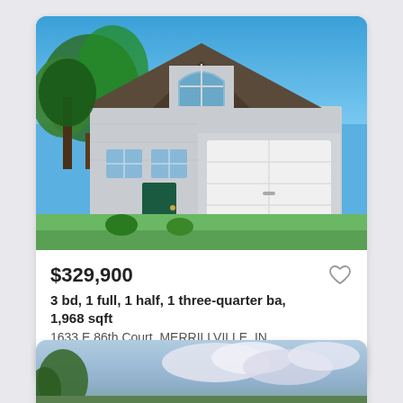[Figure (photo): Exterior photo of a two-story suburban house with blue-grey siding, white garage door, green lawn, and blue sky with trees]
$329,900
3 bd, 1 full, 1 half, 1 three-quarter ba, 1,968 sqft
1633 E 86th Court, MERRILLVILLE, IN
Courtesy of Berkshire Hathaway Ho...
[Figure (photo): Partial exterior photo of another property with sky and trees, cropped at bottom of page]